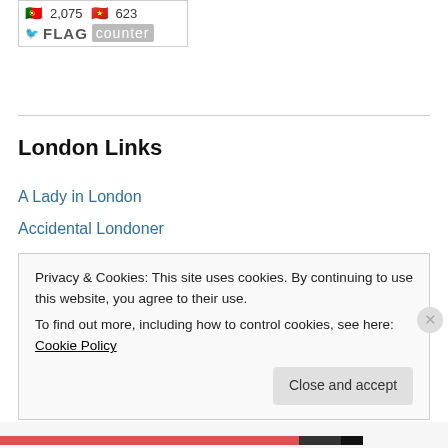[Figure (screenshot): Flag counter widget showing Portugal flag with 2,075 and Vietnam flag with 623, with FLAG counter branding below]
London Links
A Lady in London
Accidental Londoner
Best of London Life
Emm in London
Fresh Eyes on London
Great Little Place in London
Ian Visits
Privacy & Cookies: This site uses cookies. By continuing to use this website, you agree to their use.
To find out more, including how to control cookies, see here: Cookie Policy
Close and accept